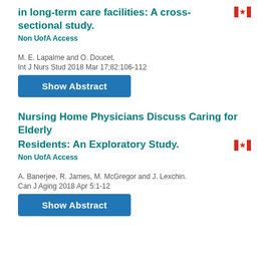in long-term care facilities: A cross-sectional study.
Non UofA Access
M. E. Lapalme and O. Doucet.
Int J Nurs Stud 2018 Mar 17;82:106-112
[Figure (other): Show Abstract button]
Nursing Home Physicians Discuss Caring for Elderly Residents: An Exploratory Study.
Non UofA Access
A. Banerjee, R. James, M. McGregor and J. Lexchin.
Can J Aging 2018 Apr 5:1-12
[Figure (other): Show Abstract button]